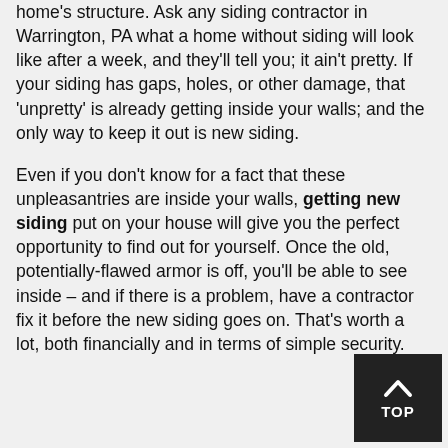home's structure. Ask any siding contractor in Warrington, PA what a home without siding will look like after a week, and they'll tell you; it ain't pretty. If your siding has gaps, holes, or other damage, that 'unpretty' is already getting inside your walls; and the only way to keep it out is new siding.
Even if you don't know for a fact that these unpleasantries are inside your walls, getting new siding put on your house will give you the perfect opportunity to find out for yourself. Once the old, potentially-flawed armor is off, you'll be able to see inside – and if there is a problem, have a contractor fix it before the new siding goes on. That's worth a lot, both financially and in terms of simple security.